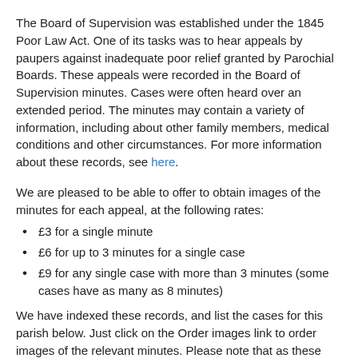The Board of Supervision was established under the 1845 Poor Law Act. One of its tasks was to hear appeals by paupers against inadequate poor relief granted by Parochial Boards. These appeals were recorded in the Board of Supervision minutes. Cases were often heard over an extended period. The minutes may contain a variety of information, including about other family members, medical conditions and other circumstances. For more information about these records, see here.
We are pleased to be able to offer to obtain images of the minutes for each appeal, at the following rates:
£3 for a single minute
£6 for up to 3 minutes for a single case
£9 for any single case with more than 3 minutes (some cases have as many as 8 minutes)
We have indexed these records, and list the cases for this parish below. Just click on the Order images link to order images of the relevant minutes. Please note that as these minutes may need to be filmed specially, it may take up to a week before we can supply them.